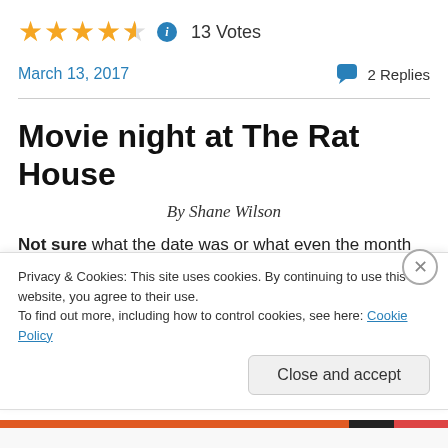[Figure (other): Star rating: 4.5 out of 5 stars with info icon and vote count]
13 Votes
March 13, 2017
2 Replies
Movie night at The Rat House
By Shane Wilson
Not sure what the date was or what even the month was but I do know for sure that the year was 1994. I was sitting
Privacy & Cookies: This site uses cookies. By continuing to use this website, you agree to their use.
To find out more, including how to control cookies, see here: Cookie Policy
Close and accept